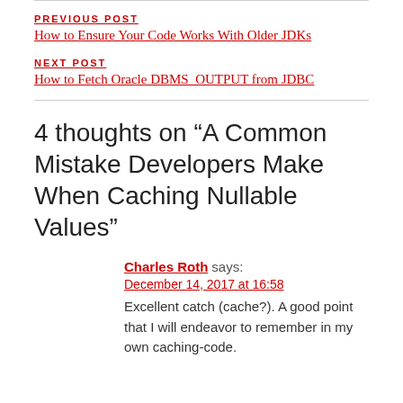PREVIOUS POST
How to Ensure Your Code Works With Older JDKs
NEXT POST
How to Fetch Oracle DBMS_OUTPUT from JDBC
4 thoughts on “A Common Mistake Developers Make When Caching Nullable Values”
Charles Roth says:
December 14, 2017 at 16:58
Excellent catch (cache?). A good point that I will endeavor to remember in my own caching-code.